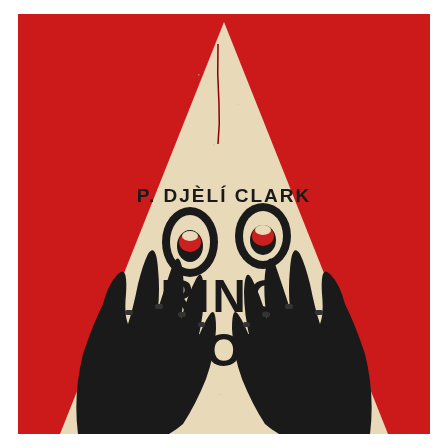[Figure (illustration): Book cover for 'Ring Shout' by P. Djèlí Clark. Bright red background with a large cream/beige triangular KKK hood shape in the center. The hood has two red oval eyes with open mouths and a large open mouth at the bottom forming a monstrous face. Two black hands reach up from the bottom of the image toward the hood. Red drips/streaks are visible on the hood. Author name 'P. DJÈLÍ CLARK' appears in bold black letters near the top of the hood, and the title 'RING SHOUT' is printed in large bold black letters across the middle of the hood.]